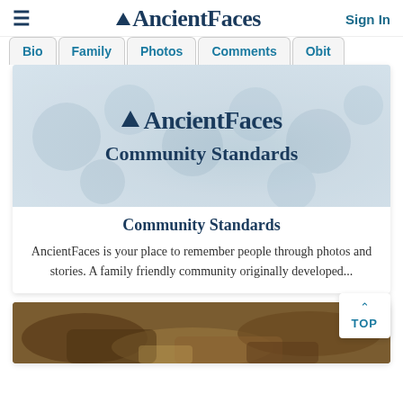≡  AncientFaces  Sign In
Bio  Family  Photos  Comments  Obit
[Figure (screenshot): AncientFaces banner image showing the AncientFaces logo and 'Community Standards' text over a faded collage background]
Community Standards
AncientFaces is your place to remember people through photos and stories. A family friendly community originally developed...
[Figure (photo): Close-up photo of old brown leather bags/satchels and papers, sepia-toned, vintage feel]